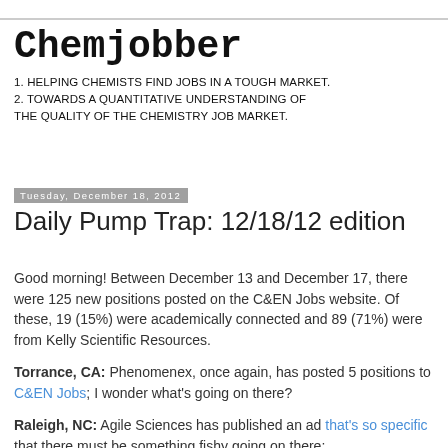Chemjobber
1. HELPING CHEMISTS FIND JOBS IN A TOUGH MARKET.
2. TOWARDS A QUANTITATIVE UNDERSTANDING OF THE QUALITY OF THE CHEMISTRY JOB MARKET.
Tuesday, December 18, 2012
Daily Pump Trap: 12/18/12 edition
Good morning! Between December 13 and December 17, there were 125 new positions posted on the C&EN Jobs website. Of these, 19 (15%) were academically connected and 89 (71%) were from Kelly Scientific Resources.
Torrance, CA: Phenomenex, once again, has posted 5 positions to C&EN Jobs; I wonder what's going on there?
Raleigh, NC: Agile Sciences has published an ad that's so specific that there must be something fishy going on there: